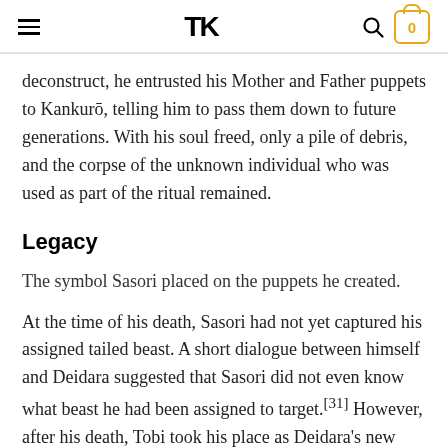≡  TK  🔍  0
deconstruct, he entrusted his Mother and Father puppets to Kankurō, telling him to pass them down to future generations. With his soul freed, only a pile of debris, and the corpse of the unknown individual who was used as part of the ritual remained.
Legacy
The symbol Sasori placed on the puppets he created.
At the time of his death, Sasori had not yet captured his assigned tailed beast. A short dialogue between himself and Deidara suggested that Sasori did not even know what beast he had been assigned to target.[31] However, after his death, Tobi took his place as Deidara's new partner and his ring in Akatsuki, and, later, he captured the Three-Tails, thereby